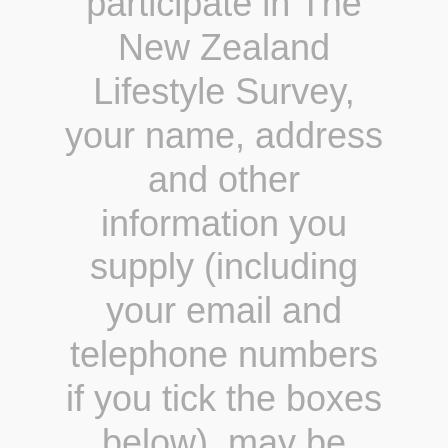participate in The New Zealand Lifestyle Survey, your name, address and other information you supply (including your email and telephone numbers if you tick the boxes below), may be provided to companies and other organizations from New Zealand and overseas to enable